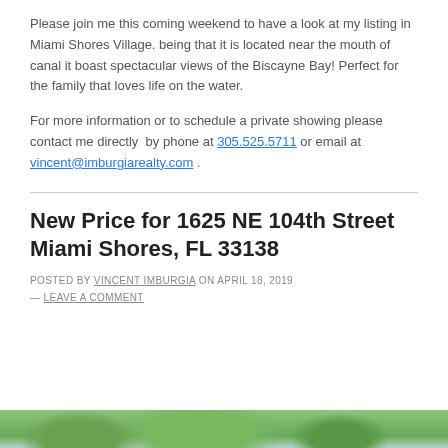Please join me this coming weekend to have a look at my listing in Miami Shores Village. being that it is located near the mouth of canal it boast spectacular views of the Biscayne Bay! Perfect for the family that loves life on the water.
For more information or to schedule a private showing please contact me directly  by phone at 305.525.5711 or email at vincent@imburgiarealty.com .
New Price for 1625 NE 104th Street Miami Shores, FL 33138
POSTED BY VINCENT IMBURGIA ON APRIL 18, 2019 — LEAVE A COMMENT
[Figure (photo): Exterior photo of property with trees and sky visible]